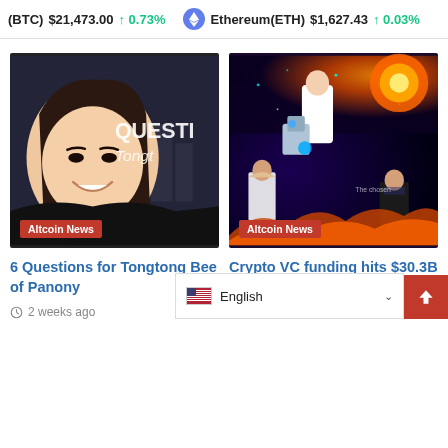(BTC) $21,473.00 ↑0.73% Ethereum(ETH) $1,627.43 ↑0.03%
[Figure (illustration): Illustrated portrait of an Asian woman smiling, with a dark urban background showing partial text 'QUESTI' and 'Tongt' in white, and a logo 'A IA' at bottom. Altcoin News badge at bottom left.]
[Figure (illustration): Illustrated scene with a character in a lab coat, a robot, a monk figure, a man in suit, and cosmic/fire background imagery. Altcoin News badge at bottom left.]
6 Questions for Tongtong Bee of Panony
2 weeks ago
Crypto VC funding hits $30.3B in H1, Michael Saylor steps down as MicroStrategy CEO